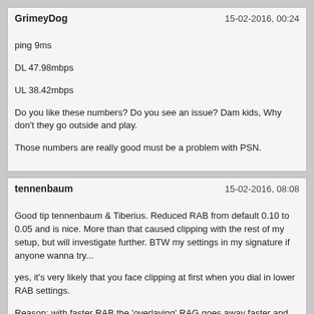GrimeyDog
15-02-2016, 00:24
ping 9ms
DL 47.98mbps
UL 38.42mbps
Do you like these numbers? Do you see an issue? Dam kids, Why don't they go outside and play.
Those numbers are really good must be a problem with PSN.
tennenbaum
15-02-2016, 08:08
Good tip tennenbaum & Tiberius. Reduced RAB from default 0.10 to 0.05 and is nice. More than that caused clipping with the rest of my setup, but will investigate further. BTW my settings in my signature if anyone wanna try...
yes, it's very likely that you face clipping at first when you dial in lower RAB settings.
Reason: with faster RAB the 'overlaying' RAG goes away faster and the original signal "comes back". so the original signal leads to clipping if it was set in a way that it clipps in general without the use of RAC. you can test it if you switch the RAG module completely off.
So if you like "fast" RAB (meaning < 0.1) your signals coming from the tires (Fxyzm) multiplied by Tireforce (TF) and multiplied by SpindleMasterScale shouldn't be too high. Because with fast RAB RAC only works for shorter moments as well, thus RAC doesn't work as a soft limiter as much as with 'longer' RAB. The reason is that RAC limits the derived signal that RAG 'generates' from the original signal, not the original signal itself.
So when people use longer RAB (>0.08) the effect is that the RAG signal is longer "at work" than the original signal during a given timeframe. therfore